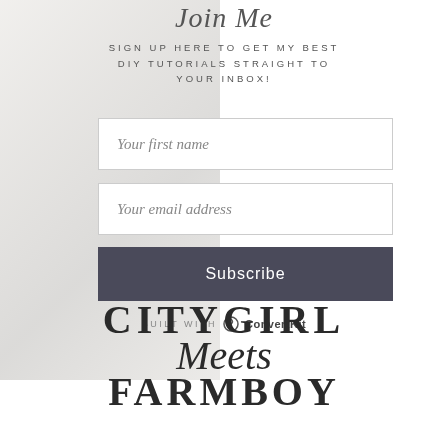Join Me
SIGN UP HERE TO GET MY BEST DIY TUTORIALS STRAIGHT TO YOUR INBOX!
Your first name
Your email address
Subscribe
BUILT WITH ConvertKit
[Figure (logo): City Girl Meets Farmboy logo with serif and script lettering]
CITYGIRL Meets FARMBOY